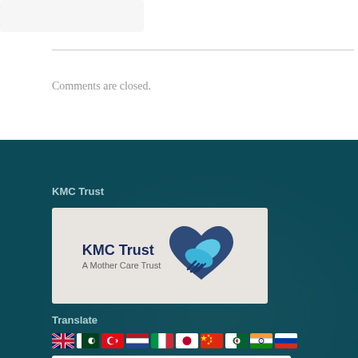Comments are closed.
[Figure (logo): KMC Trust logo with heart/hands icon and text 'KMC Trust - A Mother Care Trust']
KMC Trust
Translate
[Figure (infographic): Row of country flag icons: UK, Pakistan, Turkey, Netherlands, Italy, Japan, China, Algeria, India, Russia]
Select Language